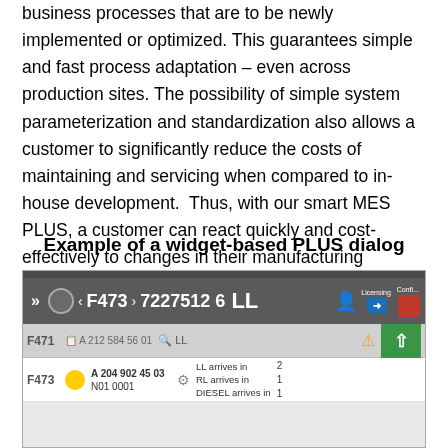business processes that are to be newly implemented or optimized. This guarantees simple and fast process adaptation – even across production sites. The possibility of simple system parameterization and standardization also allows a customer to significantly reduce the costs of maintaining and servicing when compared to in-house development.  Thus, with our smart MES PLUS, a customer can react quickly and cost-effectively to changes in their manufacturing processes, implement them in production without downtime, and achieve a decisive competitive advantage.
Example of a widget-based PLUS dialog
[Figure (screenshot): Screenshot of a widget-based PLUS dialog showing a MES interface with order F473, production number 7227512 6, type LL, along with rows for F471 and F473 showing part numbers, arrival information for LL, RL, and DIESEL.]